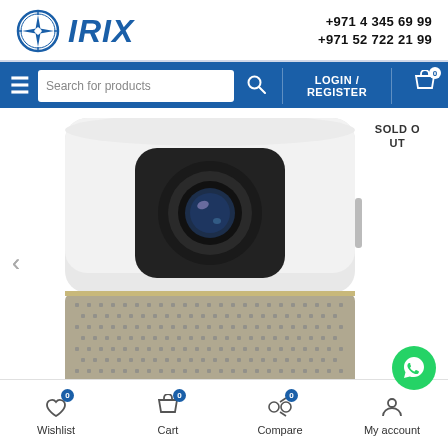IRIX +971 4 345 69 99 +971 52 722 21 99
[Figure (screenshot): IRIX e-commerce website header with logo, phone numbers, search bar, login/register, and cart icon on blue navigation bar]
SOLD OUT
[Figure (photo): White cylindrical portable projector with black lens on front, metallic mesh grille at bottom]
Wishlist 0  Cart 0  Compare 0  My account